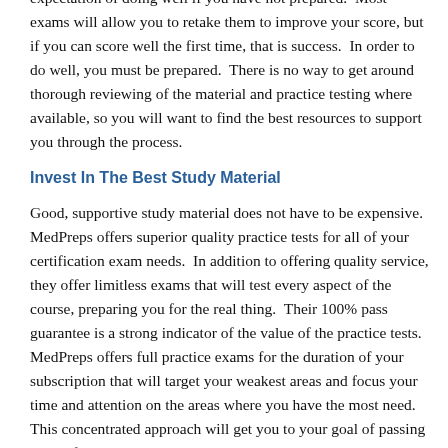You cannot walk into the certification exams with the expectation of doing well if you have not prepared.  Most exams will allow you to retake them to improve your score, but if you can score well the first time, that is success.  In order to do well, you must be prepared.  There is no way to get around thorough reviewing of the material and practice testing where available, so you will want to find the best resources to support you through the process.
Invest In The Best Study Material
Good, supportive study material does not have to be expensive.  MedPreps offers superior quality practice tests for all of your certification exam needs.  In addition to offering quality service, they offer limitless exams that will test every aspect of the course, preparing you for the real thing.  Their 100% pass guarantee is a strong indicator of the value of the practice tests.  MedPreps offers full practice exams for the duration of your subscription that will target your weakest areas and focus your time and attention on the areas where you have the most need.  This concentrated approach will get you to your goal of passing on the first try.